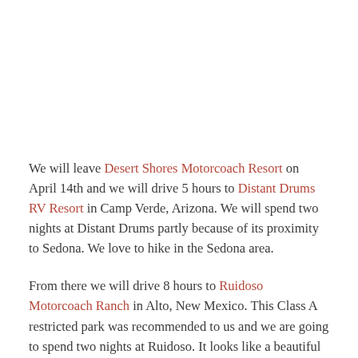We will leave Desert Shores Motorcoach Resort on April 14th and we will drive 5 hours to Distant Drums RV Resort in Camp Verde, Arizona. We will spend two nights at Distant Drums partly because of its proximity to Sedona. We love to hike in the Sedona area.
From there we will drive 8 hours to Ruidoso Motorcoach Ranch in Alto, New Mexico. This Class A restricted park was recommended to us and we are going to spend two nights at Ruidoso. It looks like a beautiful spot.
Then a relatively short drive to Oasis RV Resort in